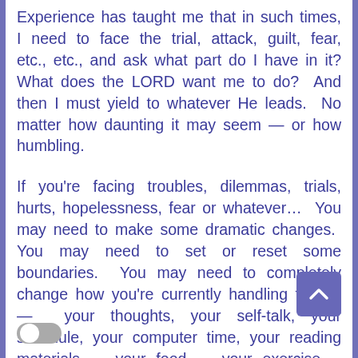Experience has taught me that in such times, I need to face the trial, attack, guilt, fear, etc., etc., and ask what part do I have in it? What does the LORD want me to do?  And then I must yield to whatever He leads.  No matter how daunting it may seem — or how humbling.
If you're facing troubles, dilemmas, trials, hurts, hopelessness, fear or whatever…  You may need to make some dramatic changes.  You may need to set or reset some boundaries.  You may need to completely change how you're currently handling things. —  your thoughts, your self-talk, your schedule, your computer time, your reading materials,  your food,  your exercise,  conversations, etc., etc.  You'll probably need